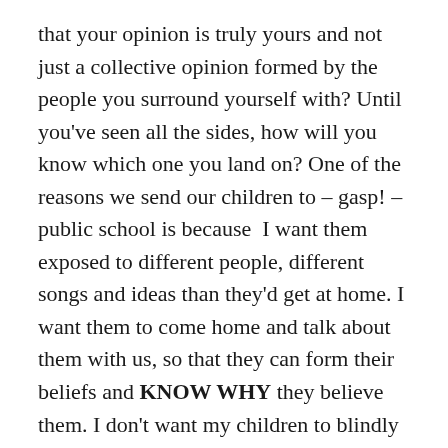that your opinion is truly yours and not just a collective opinion formed by the people you surround yourself with? Until you've seen all the sides, how will you know which one you land on? One of the reasons we send our children to – gasp! – public school is because I want them exposed to different people, different songs and ideas than they'd get at home. I want them to come home and talk about them with us, so that they can form their beliefs and KNOW WHY they believe them. I don't want my children to blindly follow my opinions, I want them to think, listen, and form their own. So I challenge you, friend, read that blog. Read it even if it makes your blood boil. Know what's going on beyond your own